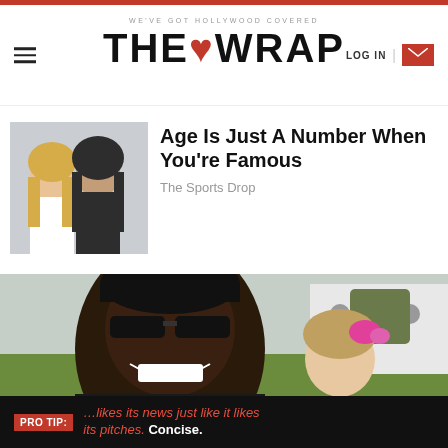THE WRAP – WE'VE GOT HOLLYWOOD COVERED
[Figure (photo): Thumbnail photo of a blonde woman and a man with long dark hair at a celebrity event]
Age Is Just A Number When You're Famous
The Sports Drop
[Figure (photo): Large photo of a smiling Black man wearing sunglasses and a black cap, with a child visible in the background outdoors]
PRO TIP: …likes its news just like it likes its pitches. Concise.